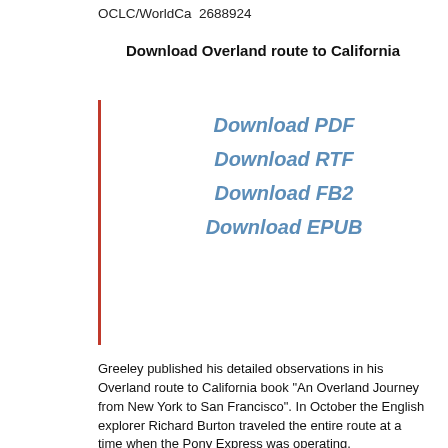OCLC/WorldCa  2688924
Download Overland route to California
Download PDF
Download RTF
Download FB2
Download EPUB
Greeley published his detailed observations in his Overland route to California book "An Overland Journey from New York to San Francisco". In October the English explorer Richard Burton traveled the entire route at a time when the Pony Express was operating.
The Overland Route was a train route operated jointly by the Union Pacific Railroad and the Central Pacific Railroad / Southern Pacific Railroad, between Council Bluffs, Iowa / Omaha, Nebraska.